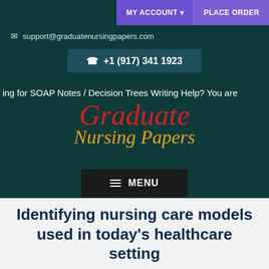MY ACCOUNT  PLACE ORDER
support@graduatenursingpapers.com
+1 (917) 341 1923
ing for SOAP Notes / Decision Trees Writing Help? You are
[Figure (logo): Graduate Nursing Papers logo in red and orange cursive script on dark teal background]
MENU
Identifying nursing care models used in today's healthcare setting